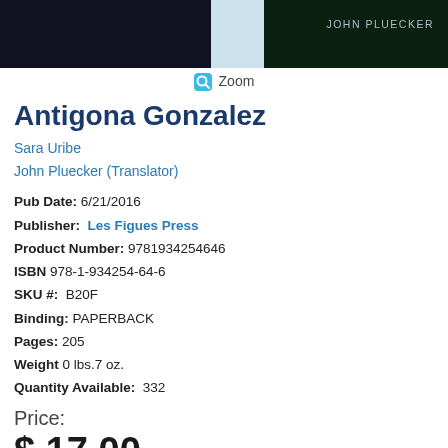[Figure (photo): Book cover image showing dark background with 'JOHN PLUECKER' text, and a lighter center panel]
Zoom
Antigona Gonzalez
Sara Uribe
John Pluecker (Translator)
Pub Date: 6/21/2016
Publisher: Les Figues Press
Product Number: 9781934254646
ISBN 978-1-934254-64-6
SKU #: B20F
Binding: PAPERBACK
Pages: 205
Weight 0 lbs.7 oz.
Quantity Available: 332
Price:
$ 17.00
Add to Cart